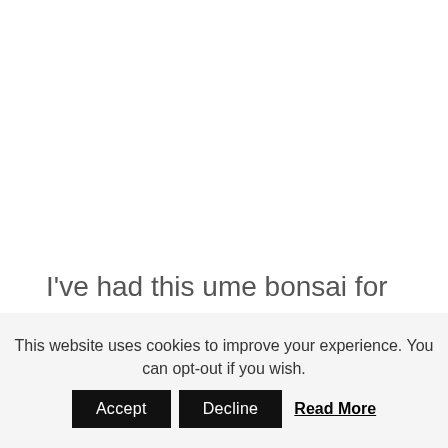I've had this ume bonsai for a long time. Several years ago, the tree lost all but a single branch due to fungus. The branch
This website uses cookies to improve your experience. You can opt-out if you wish. Accept Decline Read More